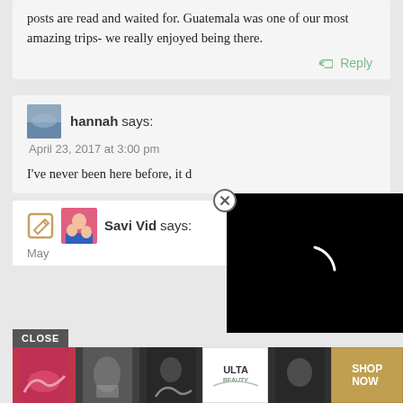posts are read and waited for. Guatemala was one of our most amazing trips- we really enjoyed being there.
Reply
hannah says:
April 23, 2017 at 3:00 pm
I've never been here before, it d
[Figure (screenshot): Black video player overlay with spinning loader arc and close button (X in circle)]
Savi Vid says:
May
[Figure (screenshot): ULTA beauty advertisement strip with makeup images and SHOP NOW button, with CLOSE bar overlay]